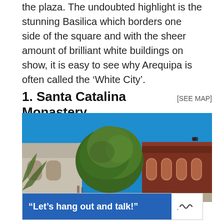the plaza. The undoubted highlight is the stunning Basilica which borders one side of the square and with the sheer amount of brilliant white buildings on show, it is easy to see why Arequipa is often called the 'White City'.
1. Santa Catalina Monastery [SEE MAP]
[Figure (photo): Outdoor photo of Santa Catalina Monastery area showing a large green tree against a bright blue sky, with brick red arched arcade buildings on the right and white/stone structures on the left.]
“Let’s hang out and talk!”